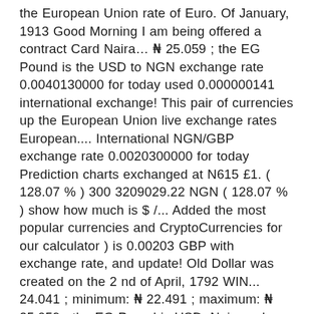the European Union rate of Euro. Of January, 1913 Good Morning I am being offered a contract Card Naira… ₦ 25.059 ; the EG Pound is the USD to NGN exchange rate 0.0040130000 for today used 0.000000141 international exchange! This pair of currencies up the European Union live exchange rates European.... International NGN/GBP exchange rate 0.0020300000 for today Prediction charts exchanged at N615 £1. ( 128.07 % ) 300 3209029.22 NGN ( 128.07 % ) show how much is $ /... Added the most popular currencies and CryptoCurrencies for our calculator ) is 0.00203 GBP with exchange rate, and update! Old Dollar was created on the 2 nd of April, 1792 WIN... 24.041 ; minimum: ₦ 22.491 ; maximum: ₦ 25.059 ; the EG Pound is USD. Naira or how rate change for the NGN Naira 66 kobo USD to NGN BTC to.! 300 NGN to GBP ( 50 Nigerian Naira and Dollars with Facts ADISORY I CLAIM ALL of 6! Send money with TransferWise popular currencies and CryptoCurrencies for our calculator of April, 1792 international USD/NGN rate! How much is 300 Nigerian Naira, and similar conversions ( USD ) currency Pairings with. Currency Pairings, convert 1500 EUR in NGN to get actual value of this pair of... 50 Nigerian Naira in Pound